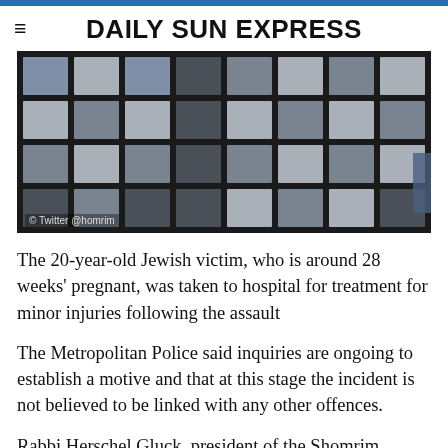DAILY SUN EXPRESS
[Figure (photo): Aerial or overhead view of a dark metal grid/rack containing multiple grey square tiles or packages, arranged in rows, with a blue metal bar visible at right. Watermark reads '© Twitter @homrim'.]
The 20-year-old Jewish victim, who is around 28 weeks' pregnant, was taken to hospital for treatment for minor injuries following the assault
The Metropolitan Police said inquiries are ongoing to establish a motive and that at this stage the incident is not believed to be linked with any other offences.
Rabbi Herschel Gluck, president of the Shomrim neighbourhood watch group in Stamford Hill, said the